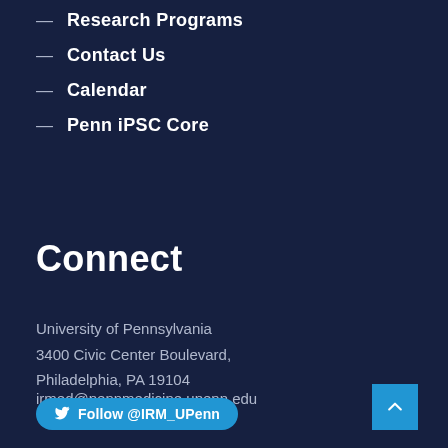— Research Programs
— Contact Us
— Calendar
— Penn iPSC Core
Connect
University of Pennsylvania
3400 Civic Center Boulevard,
Philadelphia, PA 19104
irmed@pennmedicine.upenn.edu
Follow @IRM_UPenn